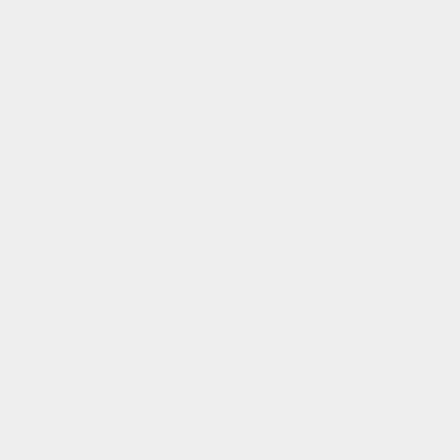tendo.
tendo.
#ThetermKnightM
#ThetermKnightM